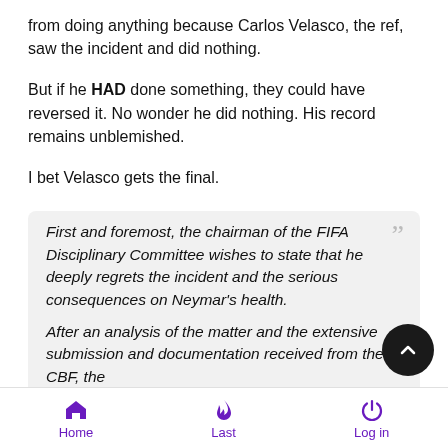from doing anything because Carlos Velasco, the ref, saw the incident and did nothing.
But if he HAD done something, they could have reversed it. No wonder he did nothing. His record remains unblemished.
I bet Velasco gets the final.
First and foremost, the chairman of the FIFA Disciplinary Committee wishes to state that he deeply regrets the incident and the serious consequences on Neymar's health.
After an analysis of the matter and the extensive submission and documentation received from the CBF, the